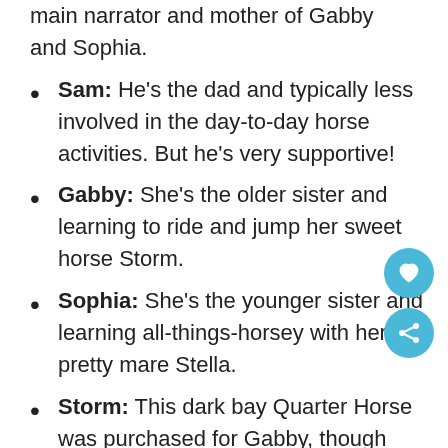main narrator and mother of Gabby and Sophia.
Sam: He's the dad and typically less involved in the day-to-day horse activities. But he's very supportive!
Gabby: She's the older sister and learning to ride and jump her sweet horse Storm.
Sophia: She's the younger sister and learning all-things-horsey with her pretty mare Stella.
Storm: This dark bay Quarter Horse was purchased for Gabby, though he's also become a steady, sweet, and safe